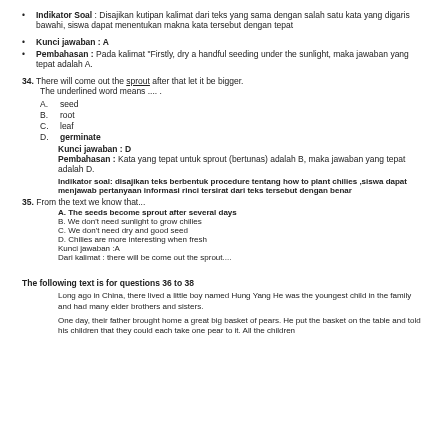Indikator Soal : Disajikan kutipan kalimat dari teks yang sama dengan salah satu kata yang digaris bawahi, siswa dapat menentukan makna kata tersebut dengan tepat
Kunci jawaban : A
Pembahasan : Pada kalimat "Firstly, dry a handful seeding under the sunlight, maka jawaban yang tepat adalah A.
34. There will come out the sprout after that let it be bigger. The underlined word means .... .
A. seed
B. root
C. leaf
D. germinate
Kunci jawaban : D
Pembahasan : Kata yang tepat untuk sprout (bertunas) adalah B, maka jawaban yang tepat adalah D.
Indikator soal: disajikan teks berbentuk procedure tentang how to plant chilies ,siswa dapat menjawab pertanyaan informasi rinci tersirat dari teks tersebut dengan benar
35. From the text we know that...
A. The seeds become sprout after several days
B. We don't need sunlight to grow chilies
C. We don't need dry and good seed
D. Chilies are more interesting when fresh
Kunci jawaban :A
Dari kalimat : there will be come out the sprout....
The following text is for questions 36 to 38
Long ago in China, there lived a little boy named Hung Yang He was the youngest child in the family and had many elder brothers and sisters.
One day, their father brought home a great big basket of pears. He put the basket on the table and told his children that they could each take one pear to it. All the children